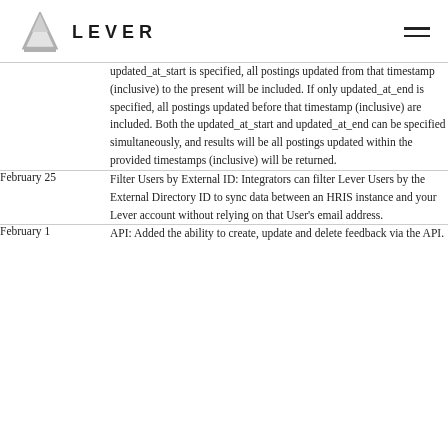LEVER
updated_at_start is specified, all postings updated from that timestamp (inclusive) to the present will be included. If only updated_at_end is specified, all postings updated before that timestamp (inclusive) are included. Both the updated_at_start and updated_at_end can be specified simultaneously, and results will be all postings updated within the provided timestamps (inclusive) will be returned.
February 25 — Filter Users by External ID: Integrators can filter Lever Users by the External Directory ID to sync data between an HRIS instance and your Lever account without relying on that User's email address.
February 1 — API: Added the ability to create, update and delete feedback via the API.